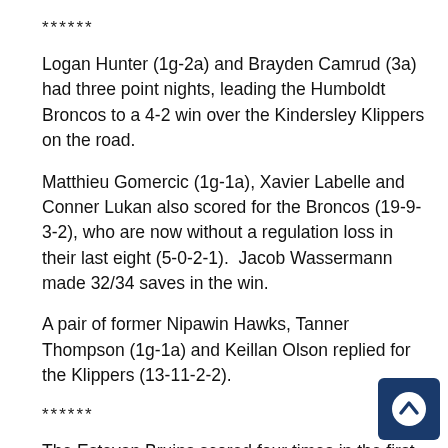******
Logan Hunter (1g-2a) and Brayden Camrud (3a) had three point nights, leading the Humboldt Broncos to a 4-2 win over the Kindersley Klippers on the road.
Matthieu Gomercic (1g-1a), Xavier Labelle and Conner Lukan also scored for the Broncos (19-9-3-2), who are now without a regulation loss in their last eight (5-0-2-1).  Jacob Wassermann made 32/34 saves in the win.
A pair of former Nipawin Hawks, Tanner Thompson (1g-1a) and Keillan Olson replied for the Klippers (13-11-2-2).
******
The Estevan Bruins scored four times in the first period, and again in the second on their way to a
[Figure (other): Scroll-to-top navigation button: dark navy blue rounded square with a white circle containing an upward-pointing chevron arrow.]